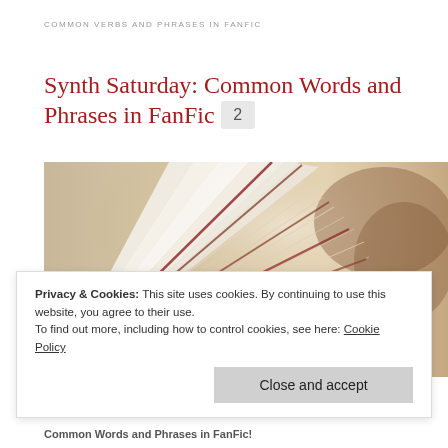COMMON VERBS AND PHRASES IN FANFIC
Synth Saturday: Common Words and Phrases in FanFic
[Figure (photo): Close-up photo of an open book with fanned pages, showing the spine and pages from above against a blurred warm background]
Privacy & Cookies: This site uses cookies. By continuing to use this website, you agree to their use.
To find out more, including how to control cookies, see here: Cookie Policy
Close and accept
Common Words and Phrases in FanFic!